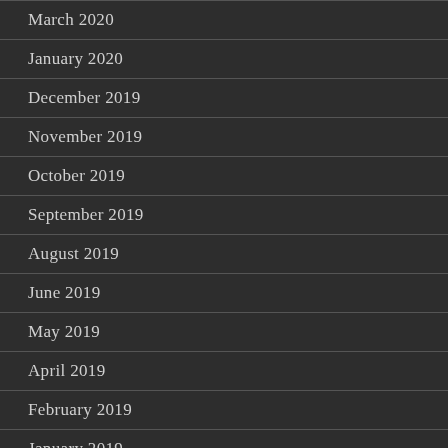March 2020
January 2020
December 2019
November 2019
October 2019
September 2019
August 2019
June 2019
May 2019
April 2019
February 2019
January 2019